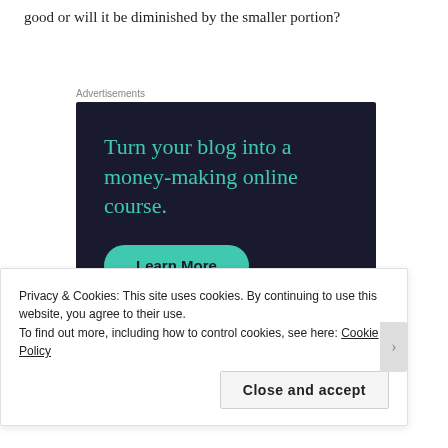good or will it be diminished by the smaller portion?
Advertisements
[Figure (infographic): Advertisement banner with dark navy background. Large teal text reads 'Turn your blog into a money-making online course.' with a teal 'Learn More' button and Sensei branding logo at the bottom right.]
Privacy & Cookies: This site uses cookies. By continuing to use this website, you agree to their use.
To find out more, including how to control cookies, see here: Cookie Policy
Close and accept